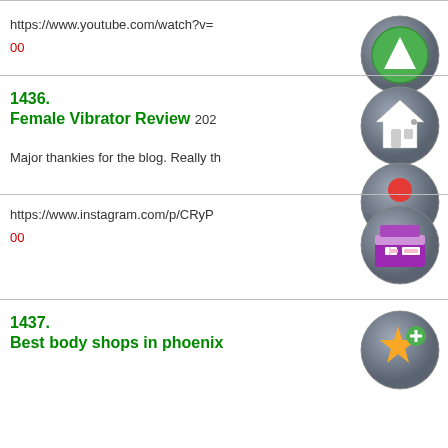https://www.youtube.com/watch?v=
00
1436.
Female Vibrator Review
Major thankies for the blog. Really th
https://www.instagram.com/p/CRyP
00
1437.
Best body shops in phoenix